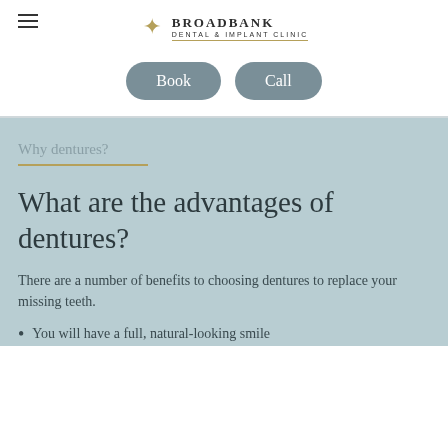Broadbank Dental & Implant Clinic
Book  Call
Why dentures?
What are the advantages of dentures?
There are a number of benefits to choosing dentures to replace your missing teeth.
You will have a full, natural-looking smile